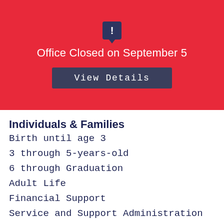[Figure (infographic): Red banner with dark blue chat/alert icon at top, showing office closed notification]
Office Closed on September 5
View Details
Individuals & Families
Birth until age 3
3 through 5-years-old
6 through Graduation
Adult Life
Financial Support
Service and Support Administration
More on Eligibility
Providers
Trainings
Help